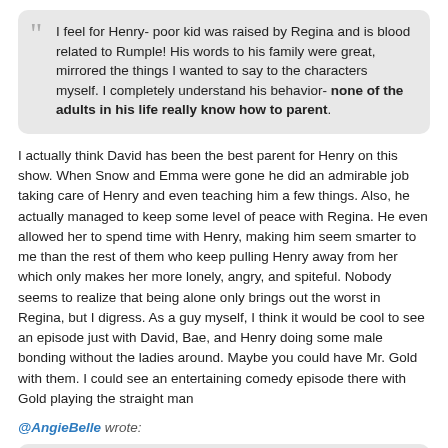I feel for Henry- poor kid was raised by Regina and is blood related to Rumple! His words to his family were great, mirrored the things I wanted to say to the characters myself. I completely understand his behavior- none of the adults in his life really know how to parent.
I actually think David has been the best parent for Henry on this show. When Snow and Emma were gone he did an admirable job taking care of Henry and even teaching him a few things. Also, he actually managed to keep some level of peace with Regina. He even allowed her to spend time with Henry, making him seem smarter to me than the rest of them who keep pulling Henry away from her which only makes her more lonely, angry, and spiteful. Nobody seems to realize that being alone only brings out the worst in Regina, but I digress. As a guy myself, I think it would be cool to see an episode just with David, Bae, and Henry doing some male bonding without the ladies around. Maybe you could have Mr. Gold with them. I could see an entertaining comedy episode there with Gold playing the straight man
@AngieBelle wrote:
Speaking of Rumple, I really liked how he was trying to be a voice of reason for Regina, encouraging her to give up on